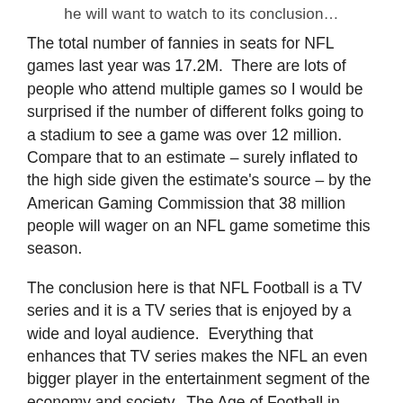he will want to watch to its conclusion…
The total number of fannies in seats for NFL games last year was 17.2M.  There are lots of people who attend multiple games so I would be surprised if the number of different folks going to a stadium to see a game was over 12 million.  Compare that to an estimate – surely inflated to the high side given the estimate's source – by the American Gaming Commission that 38 million people will wager on an NFL game sometime this season.
The conclusion here is that NFL Football is a TV series and it is a TV series that is enjoyed by a wide and loyal audience.  Everything that enhances that TV series makes the NFL an even bigger player in the entertainment segment of the economy and society.  The Age of Football in America is not over yet.